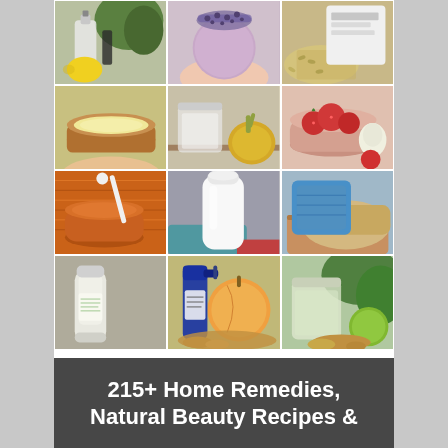[Figure (photo): A 4x3 collage of home remedy and natural beauty recipe photos: lemon and glass bottle with herbs, lavender bath bomb held in hand, oat scrub with label and grains, yellow salve in tin, jar with onion, bowl of strawberries, orange pumpkin paste with swab, white milk bottle with cloth, blue towel in shoe on cutting board, lotion tube with label, blue spray bottle with peach and ginger, clear jar with lime and ginger]
215+ Home Remedies, Natural Beauty Recipes &